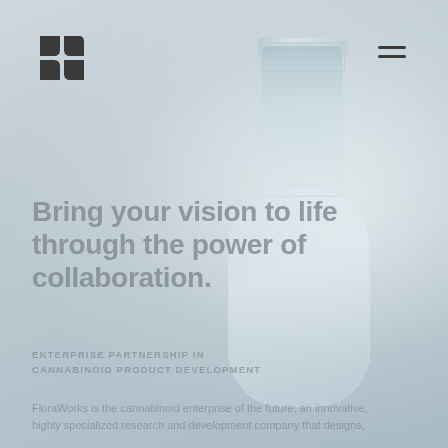[Figure (logo): FloraWorks logo — four dark grey curved/angular shapes arranged in a 2x2 grid pattern]
[Figure (photo): Background photo of clear glass laboratory bottles/vials with metallic foil caps on a light grey background]
Bring your vision to life through the power of collaboration.
ENTERPRISE PARTNERSHIP IN CANNABINOID PRODUCT DEVELOPMENT
FloraWorks is the cannabinoid enterprise of the future; an innovative, highly specialized research and development company that designs,